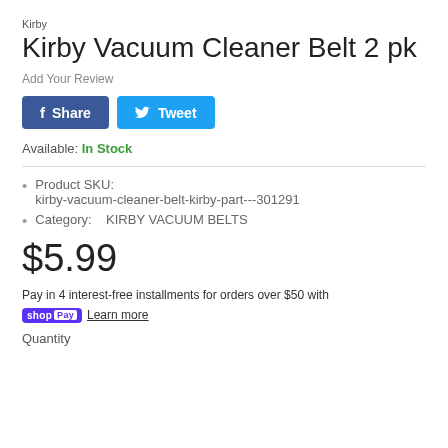Kirby
Kirby Vacuum Cleaner Belt 2 pk
Add Your Review
[Figure (other): Facebook Share button and Twitter Tweet button]
Available: In Stock
Product SKU: kirby-vacuum-cleaner-belt-kirby-part---301291
Category:    KIRBY VACUUM BELTS
$5.99
Pay in 4 interest-free installments for orders over $50 with shop Pay Learn more
Quantity